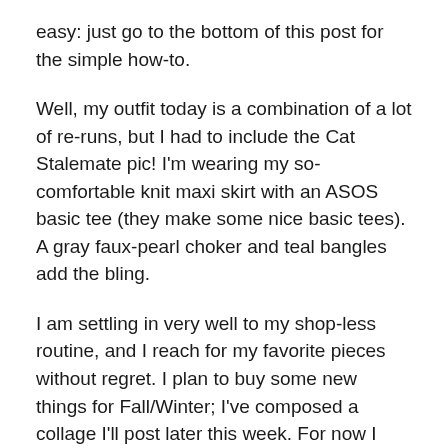easy: just go to the bottom of this post for the simple how-to.
Well, my outfit today is a combination of a lot of re-runs, but I had to include the Cat Stalemate pic! I'm wearing my so-comfortable knit maxi skirt with an ASOS basic tee (they make some nice basic tees). A gray faux-pearl choker and teal bangles add the bling.
I am settling in very well to my shop-less routine, and I reach for my favorite pieces without regret. I plan to buy some new things for Fall/Winter; I've composed a collage I'll post later this week. For now I feel Visible and happy, and hope you feel the same, whether you're wearing new or familiar.
P.S. Full disclosure: These photos were taken earlier in the week. Our air conditioner broke on Friday, and "The